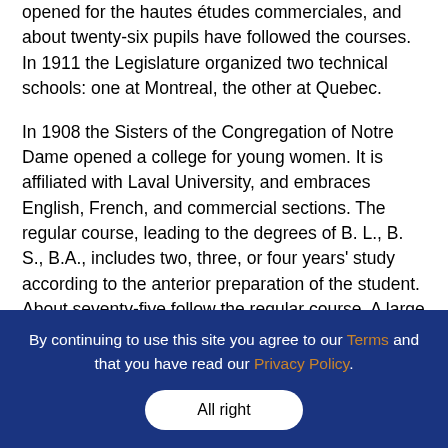opened for the hautes études commerciales, and about twenty-six pupils have followed the courses. In 1911 the Legislature organized two technical schools: one at Montreal, the other at Quebec.
In 1908 the Sisters of the Congregation of Notre Dame opened a college for young women. It is affiliated with Laval University, and embraces English, French, and commercial sections. The regular course, leading to the degrees of B. L., B. S., B.A., includes two, three, or four years' study according to the anterior preparation of the student. About seventy-five follow the regular course. A large number attend the public lectures. The final examinations of the year are submitted to university professors. The staff of
By continuing to use this site you agree to our Terms and that you have read our Privacy Policy.
All right